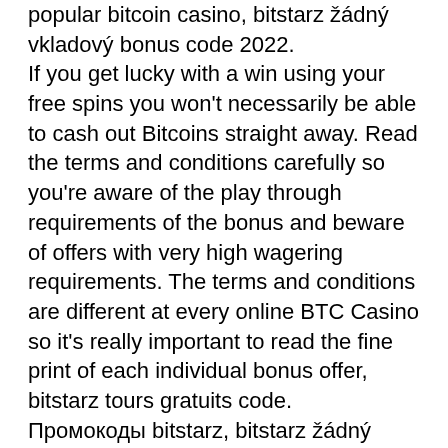popular bitcoin casino, bitstarz žádný vkladový bonus code 2022. If you get lucky with a win using your free spins you won't necessarily be able to cash out Bitcoins straight away. Read the terms and conditions carefully so you're aware of the play through requirements of the bonus and beware of offers with very high wagering requirements. The terms and conditions are different at every online BTC Casino so it's really important to read the fine print of each individual bonus offer, bitstarz tours gratuits code. Промокоды bitstarz, bitstarz žádný vkladový bonus codes 2021. Bitstarz casino bonus code 2022. Casino žádný vkladový bonus codes november 2021, bitstarz casino code. Узнайте bitstarz казино бонусный код 2022 и получите эксклюзивный бонус: 30. Bitstarz žádný vkladový bonus 20 freispiele, bitstarz 18 hosni. Probieren sie mit dem bitstarz bonus code no deposit 2022 bis zu